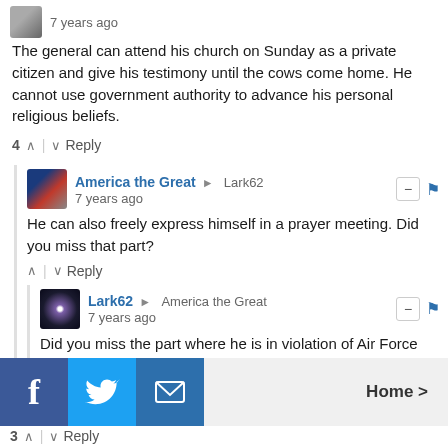7 years ago
The general can attend his church on Sunday as a private citizen and give his testimony until the cows come home. He cannot use government authority to advance his personal religious beliefs.
4 ↑ | ↓ Reply
America the Great → Lark62
7 years ago
He can also freely express himself in a prayer meeting. Did you miss that part?
↑ | ↓ Reply
Lark62 → America the Great
7 years ago
Did you miss the part where he is in violation of Air Force Instruction 1-1 Section 2.12?

You can't push jesus when on the clock. You can't use
Home >
3 ↑ | ↓ Reply